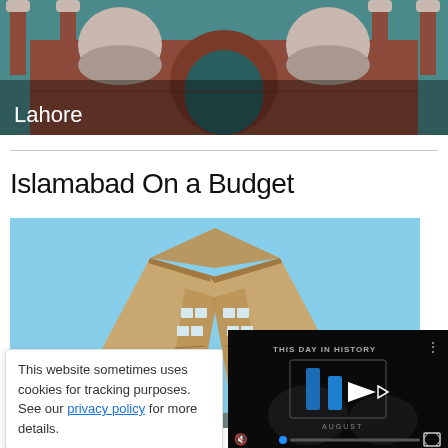[Figure (photo): Badshahi Mosque in Lahore with reddish-brown facade, white domes and minarets against a teal sky. Label 'Lahore' overlaid at bottom-left.]
Lahore
Islamabad On a Budget
[Figure (photo): Upward-looking view of the Pakistan Monument in Islamabad — ornate curved architectural blades with decorative golden patterns meeting at the top against a blue sky.]
This website sometimes uses cookies for tracking purposes. See our privacy policy for more details.
[Figure (screenshot): Video player overlay with dark background showing 'THIS DAY IN HISTORY' text, a blue play button logo with 'AUGUST' label, and video controls including mute and fullscreen buttons.]